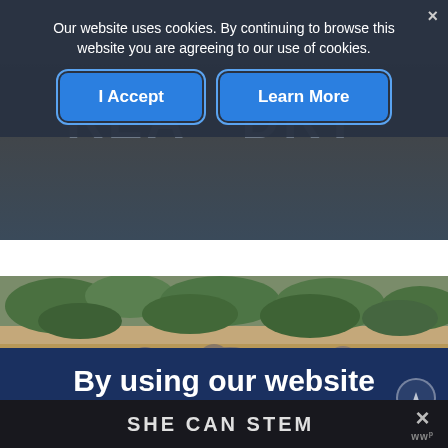Our website uses cookies. By continuing to browse this website you are agreeing to our use of cookies.
[Figure (screenshot): Cookie consent banner with 'I Accept' and 'Learn More' buttons over a dark background with 'REALDORY' text partially visible]
[Figure (photo): A large herd of elephants wading in a river with green vegetation and sandy banks in the background]
By using our website you are helping to support
SHE CAN STEM